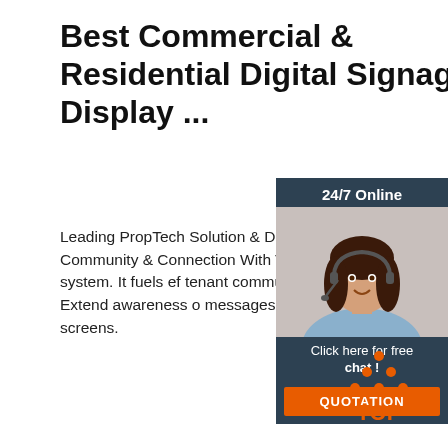Best Commercial & Residential Digital Signage Display ...
Leading PropTech Solution & Digital Media Network Create A Sense Of Community & Connection With Tenants. Captivate is a property management system. It fuels effective tenant communication and integrates existing building technology. Extend awareness of key messages on high-impact lobby signage and elevator screens.
[Figure (infographic): Customer service chat widget with '24/7 Online' header, photo of a woman with a headset, 'Click here for free chat!' text, and an orange 'QUOTATION' button]
Get Price
[Figure (logo): Orange dotted triangle logo with 'TOP' text in orange letters]